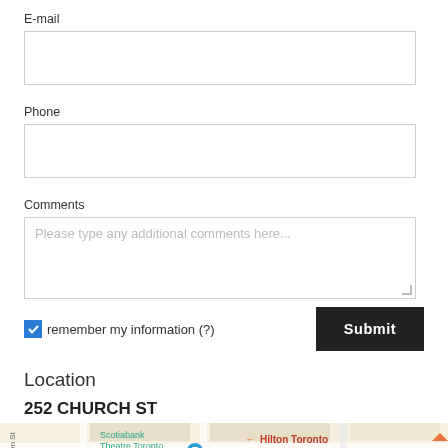E-mail
[Figure (screenshot): Empty email input text field with border]
Phone
[Figure (screenshot): Empty phone input text field with border]
Comments
[Figure (screenshot): Comments textarea with placeholder text: Please type any additional comments here...]
remember my information (?)
Submit
Location
252 CHURCH ST
[Figure (map): Street map showing area near 252 Church St, Toronto, with Scotiabank Theatre Toronto and Hilton Toronto labels visible]